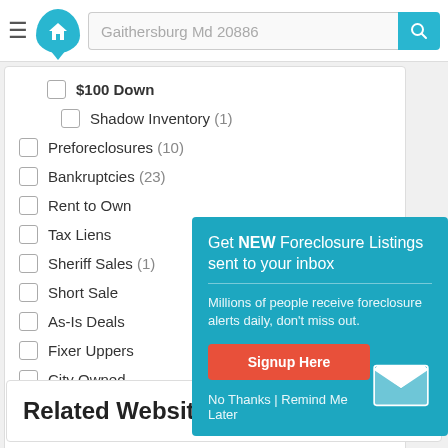Gaithersburg Md 20886
$100 Down
Shadow Inventory (1)
Preforeclosures (10)
Bankruptcies (23)
Rent to Own
Tax Liens
Sheriff Sales (1)
Short Sale
As-Is Deals
Fixer Uppers
City Owned
Remember, we update our listings daily!
[Figure (infographic): Popup advertisement: Get NEW Foreclosure Listings sent to your inbox. Millions of people receive foreclosure alerts daily, don't miss out. Signup Here button. No Thanks | Remind Me Later links. White envelope icon.]
Related Websites